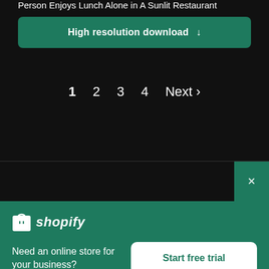Person Enjoys Lunch Alone in A Sunlit Restaurant
High resolution download ↓
1  2  3  4  Next ›
×
[Figure (logo): Shopify logo with shopping bag icon and italic text 'shopify']
Need an online store for your business?
Start free trial